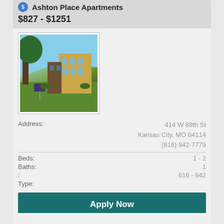5 Ashton Place Apartments
$827 - $1251
[Figure (photo): Exterior photo of Ashton Place Apartments showing a yellow building with shrubs and trees, green lawn, and a sign post in front.]
Address: 414 W 89th St Kansas City, MO 64114 (816) 942-7779
Beds: 1 - 2
Baths: 1
: 616 - 942
Type:
Apply Now